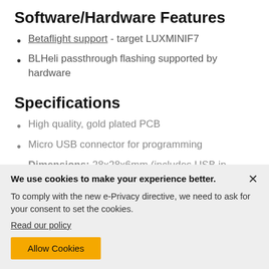Software/Hardware Features
Betaflight support - target LUXMINIF7
BLHeli passthrough flashing supported by hardware
Specifications
High quality, gold plated PCB
Micro USB connector for programming
Dimensions: 28x28x6mm (includes USB in height)
We use cookies to make your experience better.
To comply with the new e-Privacy directive, we need to ask for your consent to set the cookies.
Read our policy
Allow Cookies